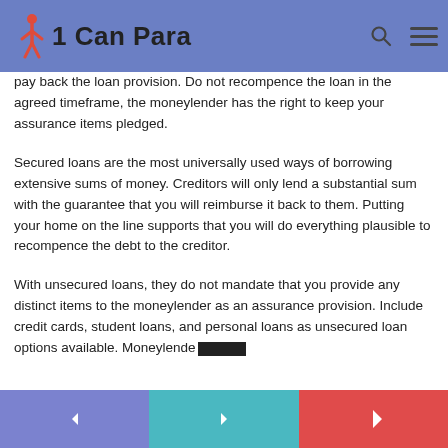1 Can Para
pay back the loan provision. Do not recompence the loan in the agreed timeframe, the moneylender has the right to keep your assurance items pledged.
Secured loans are the most universally used ways of borrowing extensive sums of money. Creditors will only lend a substantial sum with the guarantee that you will reimburse it back to them. Putting your home on the line supports that you will do everything plausible to recompence the debt to the creditor.
With unsecured loans, they do not mandate that you provide any distinct items to the moneylender as an assurance provision. Include credit cards, student loans, and personal loans as unsecured loan options available. Moneylende...